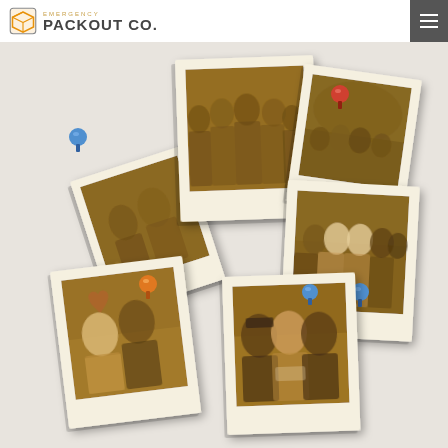Emergency Packout Co.
[Figure (photo): Collage of five polaroid-style sepia-toned photos pinned to a board, showing Emergency Packout Co. team members with clients. Photos are arranged at various angles with colorful pushpins (blue, red, orange).]